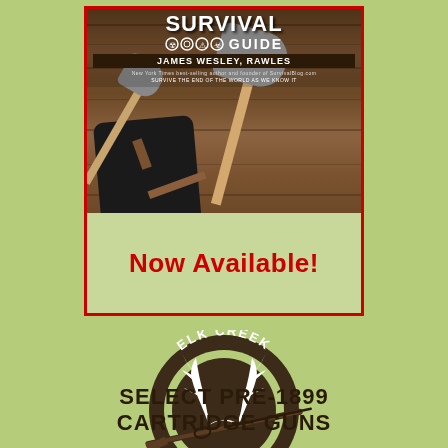[Figure (illustration): Book cover for 'Survival Guide' by James Wesley, Rawles showing axes on a wooden background, with a light green banner at bottom reading 'Now Available!' in red bold text. The entire image is framed with a red border.]
[Figure (logo): Elk Creek Company circular logo in dark brown with white text reading 'ELK CREEK' at top and 'COMPANY' at bottom, white antlers in center, and a rifle crossing diagonally through the circle.]
SELECT PRE-1899 CARTRIDGE GUNS